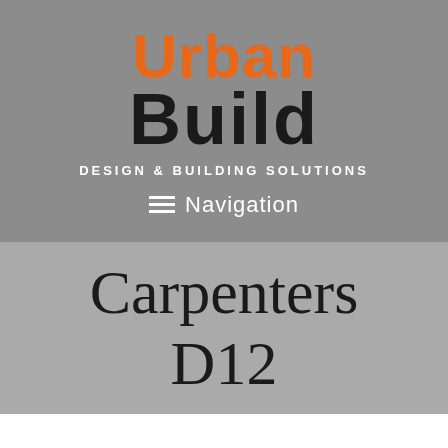[Figure (logo): Urban Build Design & Building Solutions logo with orange 'Urban' text, bold black 'Build' text, white tagline, and navigation menu bar on a grey background]
Carpenters D12